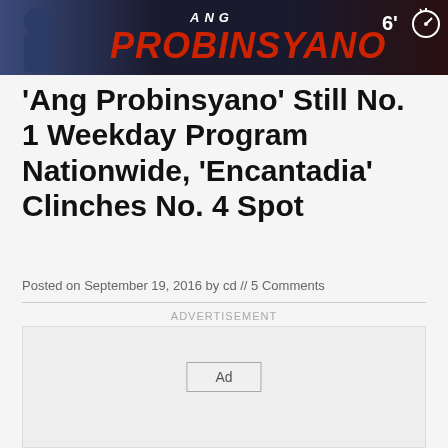[Figure (photo): Dark banner image showing 'ANG PROBINSYANO' text logo in red italic font with dark background, and a timer indicator showing '6'' in the top right corner]
'Ang Probinsyano' Still No. 1 Weekday Program Nationwide, 'Encantadia' Clinches No. 4 Spot
Posted on September 19, 2016 by cd // 5 Comments
ADVERTISEMENT
[Figure (other): Advertisement placeholder box with 'Ad' button label]